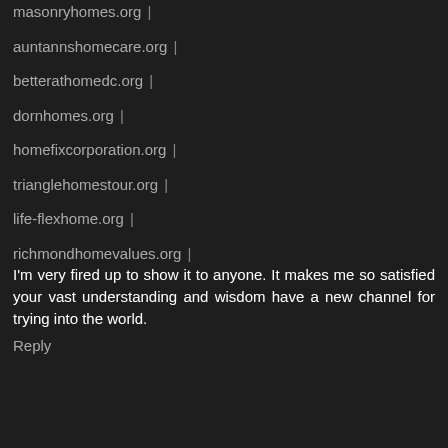masonryhomes.org |
auntannshomecare.org |
betterathomedc.org |
dornhomes.org |
homefixcorporation.org |
trianglehomestour.org |
life-flexhome.org |
richmondhomevalues.org |
I'm very fired up to show it to anyone. It makes me so satisfied your vast understanding and wisdom have a new channel for trying into the world.
Reply